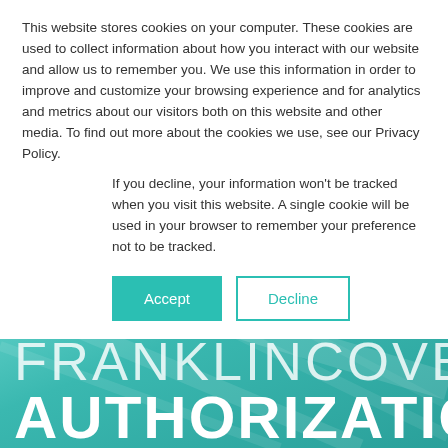This website stores cookies on your computer. These cookies are used to collect information about how you interact with our website and allow us to remember you. We use this information in order to improve and customize your browsing experience and for analytics and metrics about our visitors both on this website and other media. To find out more about the cookies we use, see our Privacy Policy.
If you decline, your information won't be tracked when you visit this website. A single cookie will be used in your browser to remember your preference not to be tracked.
[Figure (other): Hero banner with teal/mint background showing large white text: 'SAP AND FRANKLINCOVE' on two lines in thin weight, and 'AUTHORIZATIO' in bold below, suggesting a partial page title cutoff. Background has diagonal line textures visible.]